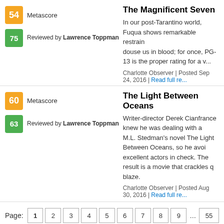54 Metascore | 75 Reviewed by Lawrence Toppman
The Magnificent Seven
In our post-Tarantino world, Fuqua shows remarkable restraint in not dousing us in blood; for once, PG-13 is the proper rating for a w...
Charlotte Observer | Posted Sep 24, 2016 | Read full re...
60 Metascore | 63 Reviewed by Lawrence Toppman
The Light Between Oceans
Writer-director Derek Cianfrance knew he was dealing with a M.L. Stedman's novel The Light Between Oceans, so he avoided excellent actors in check. The result is a movie that crackles blaze.
Charlotte Observer | Posted Aug 30, 2016 | Read full re...
Page: 1 2 3 4 5 6 7 8 9 ... 55
Music title data, credits, and images provided by AMG | Move ti... | W... | MOVIES TV MUSIC PS4 XBOXONE SWIT... | Careers | FAQ | Ab... | Do Not Sell My Information | Pri... | © 2022 METACRITIC A RED...